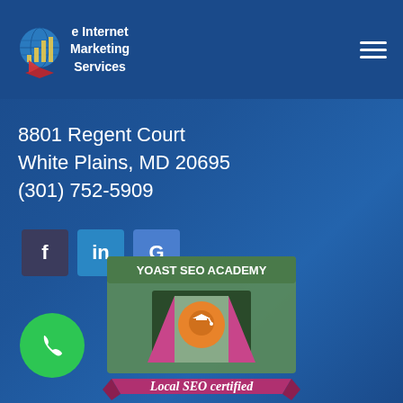e Internet Marketing Services
8801 Regent Court
White Plains, MD 20695
(301) 752-5909
[Figure (infographic): Social media icon buttons: Facebook (f), LinkedIn (in), Google (G)]
[Figure (infographic): Yoast SEO Academy badge with Local SEO certified text, featuring an orange location pin with a graduation cap, pink ribbon banner at bottom reading 'Local SEO certified']
[Figure (infographic): Green circular phone button with white phone icon]